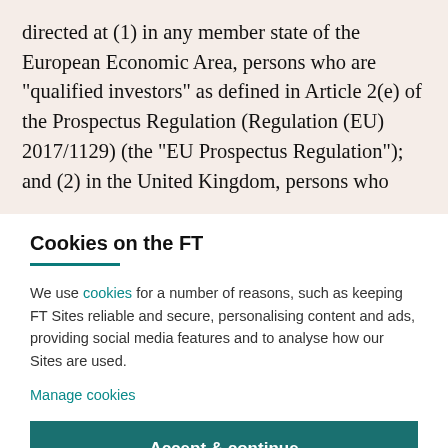directed at (1) in any member state of the European Economic Area, persons who are "qualified investors" as defined in Article 2(e) of the Prospectus Regulation (Regulation (EU) 2017/1129) (the "EU Prospectus Regulation"); and (2) in the United Kingdom, persons who
Cookies on the FT
We use cookies for a number of reasons, such as keeping FT Sites reliable and secure, personalising content and ads, providing social media features and to analyse how our Sites are used.
Manage cookies
Accept & continue